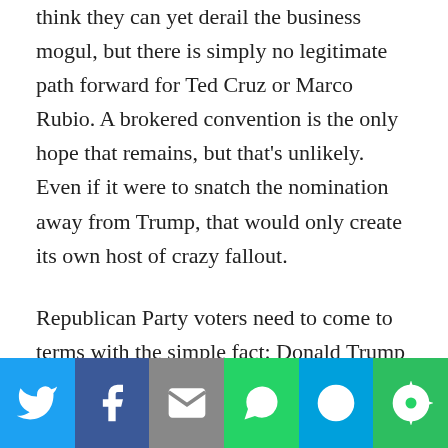think they can yet derail the business mogul, but there is simply no legitimate path forward for Ted Cruz or Marco Rubio. A brokered convention is the only hope that remains, but that's unlikely. Even if it were to snatch the nomination away from Trump, that would only create its own host of crazy fallout.
Republican Party voters need to come to terms with the simple fact: Donald Trump is the leader of your party now.
Is this who really represents you, a Republican voter, and all your personal values and beliefs? A man who has
[Figure (infographic): Social sharing bar with six buttons: Twitter (blue), Facebook (dark blue), Email (gray), WhatsApp (green), SMS (light blue), More (green)]